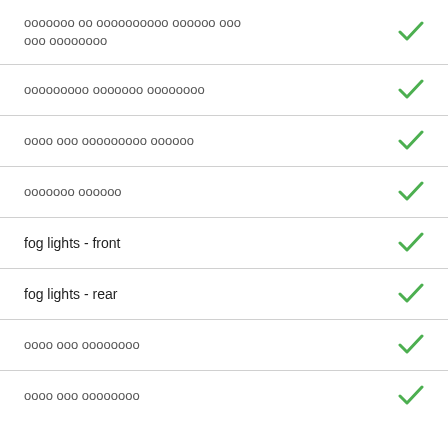ооооооо оо оооооооооо оооооо ооо ооо оооооооо
ооооооооо ооооооо оооооооо
оооо ооо ооооооооо оооооо
ооооооо оооооо
fog lights - front
fog lights - rear
оооо ооо оооооооо
оооо ооо оооооооо